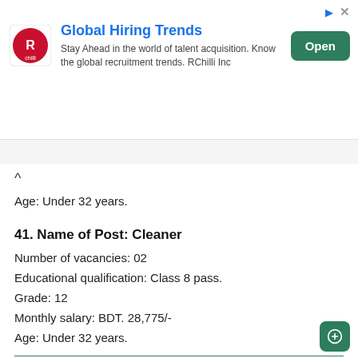[Figure (other): Advertisement banner for RChilli Global Hiring Trends with logo, description text, and Open button]
Age: Under 32 years.
41. Name of Post: Cleaner
Number of vacancies: 02
Educational qualification: Class 8 pass.
Grade: 12
Monthly salary: BDT. 28,775/-
Age: Under 32 years.
KEEP READING
Title: Gov Job Circular 2023